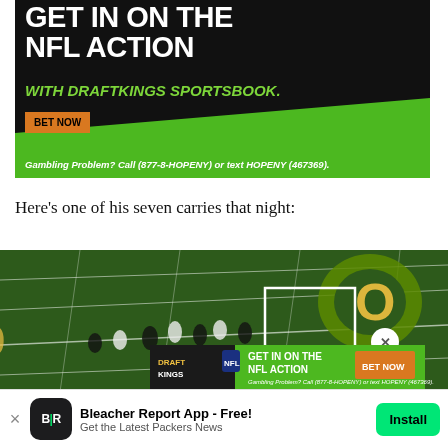[Figure (illustration): DraftKings Sportsbook advertisement banner. Black background with large white bold text reading 'GET IN ON THE NFL ACTION', green italic bold text 'WITH DRAFTKINGS SPORTSBOOK.', orange 'BET NOW' button, green diagonal bottom strip, and white italic text 'Gambling Problem? Call (877-8-HOPENY) or text HOPENY (467369).']
Here's one of his seven carries that night:
[Figure (screenshot): Aerial/broadcast view of a football field showing players lined up. A white rectangle box highlights a player near midfield. The Oregon 'O' logo is visible on the field. An overlaid DraftKings advertisement appears at the bottom of the video with 'GET IN ON THE NFL ACTION' text, BET NOW button, and gambling disclaimer.]
[Figure (illustration): Bleacher Report app download banner. Shows B|R logo icon on dark background, text 'Bleacher Report App - Free!' and 'Get the Latest Packers News', with a green 'Install' button. An X close button appears on the left.]